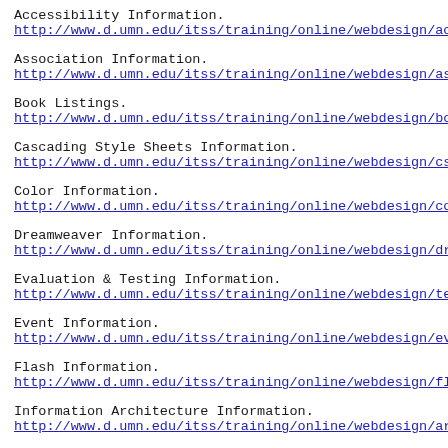Accessibility Information.
http://www.d.umn.edu/itss/training/online/webdesign/acces
Association Information.
http://www.d.umn.edu/itss/training/online/webdesign/asso
Book Listings.
http://www.d.umn.edu/itss/training/online/webdesign/books
Cascading Style Sheets Information.
http://www.d.umn.edu/itss/training/online/webdesign/css.h
Color Information.
http://www.d.umn.edu/itss/training/online/webdesign/colo
Dreamweaver Information.
http://www.d.umn.edu/itss/training/online/webdesign/drear
Evaluation & Testing Information.
http://www.d.umn.edu/itss/training/online/webdesign/test
Event Information.
http://www.d.umn.edu/itss/training/online/webdesign/even
Flash Information.
http://www.d.umn.edu/itss/training/online/webdesign/flas
Information Architecture Information.
http://www.d.umn.edu/itss/training/online/webdesign/arch